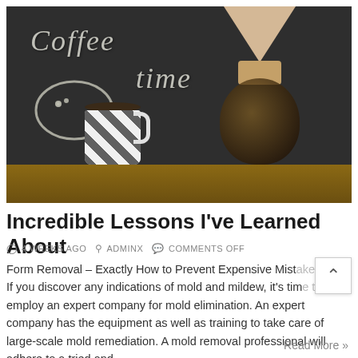[Figure (photo): Photo of a chalkboard with 'Coffee time' written in chalk and a smiley face, with a black-and-white diamond-patterned coffee mug and a Chemex coffee maker on a wooden surface in the foreground.]
Incredible Lessons I've Learned About
4 WEEKS AGO   ADMINX   COMMENTS OFF
Form Removal – Exactly How to Prevent Expensive Mistakes If you discover any indications of mold and mildew, it's time to employ an expert company for mold elimination. An expert company has the equipment as well as training to take care of large-scale mold remediation. A mold removal professional will adhere to a tried and
Read More »